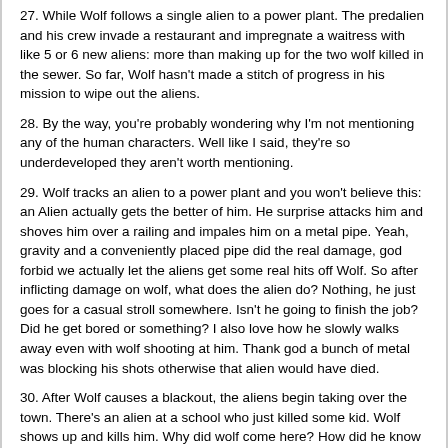27. While Wolf follows a single alien to a power plant. The predalien and his crew invade a restaurant and impregnate a waitress with like 5 or 6 new aliens: more than making up for the two wolf killed in the sewer. So far, Wolf hasn't made a stitch of progress in his mission to wipe out the aliens.
28. By the way, you're probably wondering why I'm not mentioning any of the human characters. Well like I said, they're so underdeveloped they aren't worth mentioning.
29. Wolf tracks an alien to a power plant and you won't believe this: an Alien actually gets the better of him. He surprise attacks him and shoves him over a railing and impales him on a metal pipe. Yeah, gravity and a conveniently placed pipe did the real damage, god forbid we actually let the aliens get some real hits off Wolf. So after inflicting damage on wolf, what does the alien do? Nothing, he just goes for a casual stroll somewhere. Isn't he going to finish the job? Did he get bored or something? I also love how he slowly walks away even with wolf shooting at him. Thank god a bunch of metal was blocking his shots otherwise that alien would have died.
30. After Wolf causes a blackout, the aliens begin taking over the town. There's an alien at a school who just killed some kid. Wolf shows up and kills him. Why did wolf come here? How did he know there was an alien in this school? Why this alien? Doesn't he know the Predalien is his primary target? While he's wasting his time killing all these aliens one by one, the predalien is giving birth to like 50 more.
31. Wolf kidnaps a teenage girl from the group and...